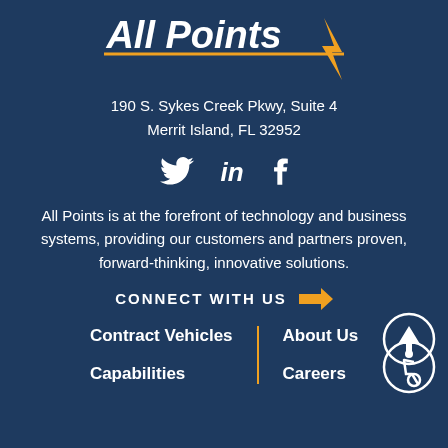[Figure (logo): All Points logo with italic bold text and horizontal arrow/line graphic in orange/yellow]
190 S. Sykes Creek Pkwy, Suite 4
Merrit Island, FL 32952
[Figure (infographic): Social media icons: Twitter bird, LinkedIn 'in', Facebook 'f']
All Points is at the forefront of technology and business systems, providing our customers and partners proven, forward-thinking, innovative solutions.
CONNECT WITH US →
Contract Vehicles
About Us
Capabilities
Careers